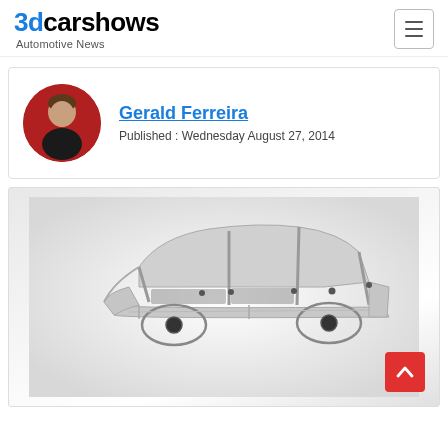3dcarshows — Automotive News
Gerald Ferreira
Published : Wednesday August 27, 2014
[Figure (photo): Car chassis/body frame shown as a metallic skeletal structure on a white/grey gradient background, displayed at an angle. A red 'back to top' button with an upward chevron arrow is visible in the bottom-right corner of the image.]